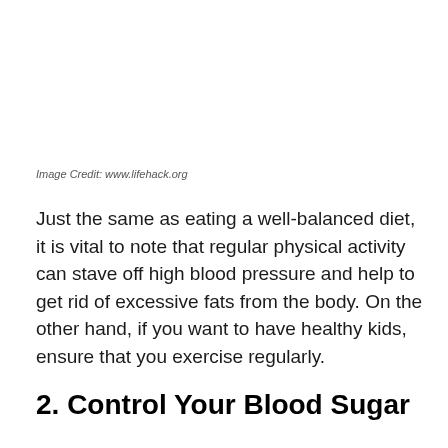Image Credit: www.lifehack.org
Just the same as eating a well-balanced diet, it is vital to note that regular physical activity can stave off high blood pressure and help to get rid of excessive fats from the body. On the other hand, if you want to have healthy kids, ensure that you exercise regularly.
2. Control Your Blood Sugar